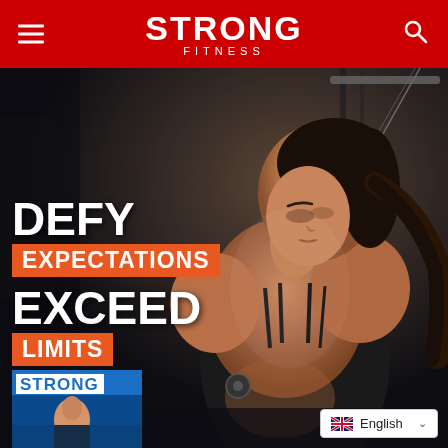STRONG FITNESS
[Figure (photo): Fitness woman in black sports bra using cable machine at gym, viewed from behind/side angle, dark gym background]
DEFY EXPECTATIONS EXCEED LIMITS
[Figure (photo): Strong Fitness Magazine cover thumbnail showing a woman]
English